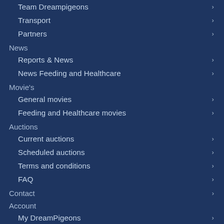Team Dreampigeons
Transport
Partners
News
Reports & News
News Feeding and Healthcare
Movie's
General movies
Feeding and Healthcare movies
Auctions
Current auctions
Scheduled auctions
Terms and conditions
FAQ
Contact
Account
My DreamPigeons
Login
Lost password?
Register